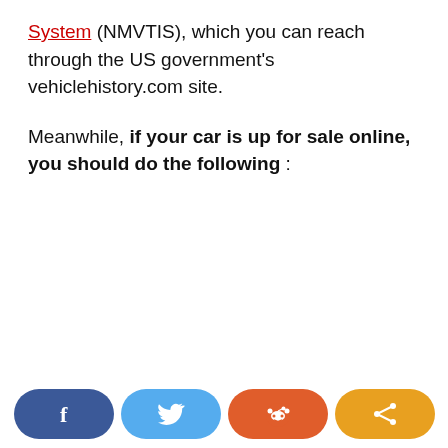System (NMVTIS), which you can reach through the US government's vehiclehistory.com site.
Meanwhile, if your car is up for sale online, you should do the following :
[Figure (other): Social sharing buttons bar at the bottom: Facebook (dark blue), Twitter (light blue), Reddit (orange-red), Share (orange)]